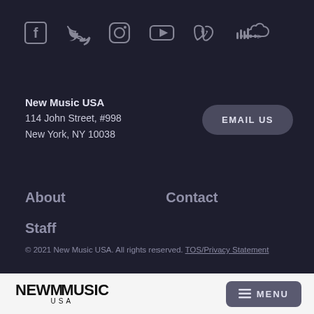[Figure (infographic): Row of social media icons: Facebook, Twitter, Instagram, YouTube, Vimeo, SoundCloud]
New Music USA
114 John Street, #998
New York, NY 10038
EMAIL US
About
Contact
Staff
© 2021 New Music USA. All rights reserved. TOS/Privacy Statement
[Figure (logo): NEW MUSIC USA logo with hamburger MENU button]